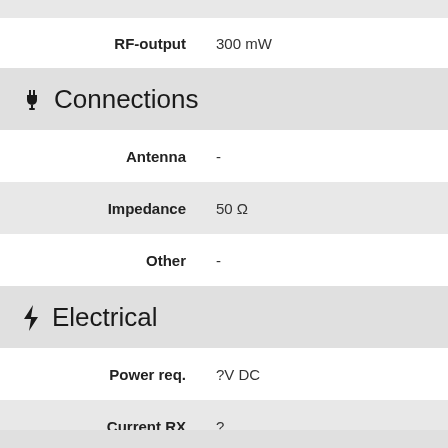| Property | Value |
| --- | --- |
| RF-output | 300 mW |
Connections
| Property | Value |
| --- | --- |
| Antenna | - |
| Impedance | 50 Ω |
| Other | - |
Electrical
| Property | Value |
| --- | --- |
| Power req. | ?V DC |
| Current RX | ? |
| TX | ? |